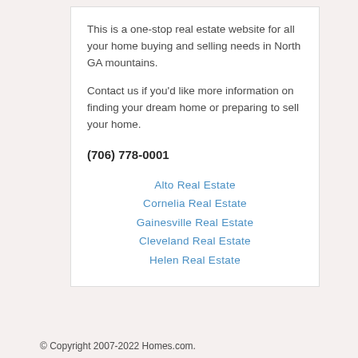This is a one-stop real estate website for all your home buying and selling needs in North GA mountains.
Contact us if you'd like more information on finding your dream home or preparing to sell your home.
(706) 778-0001
Alto Real Estate
Cornelia Real Estate
Gainesville Real Estate
Cleveland Real Estate
Helen Real Estate
© Copyright 2007-2022 Homes.com.